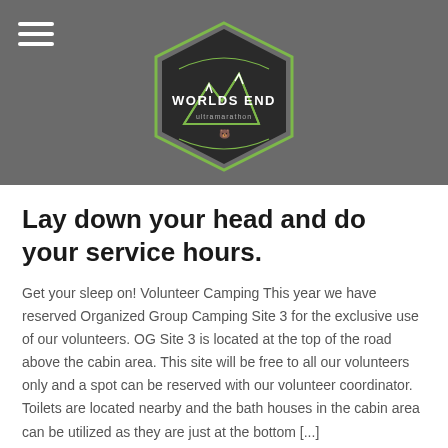[Figure (logo): Worlds End Ultramarathon logo — hexagonal badge shape with mountain silhouette, text 'WORLDS END ultramarathon' on dark background]
Lay down your head and do your service hours.
Get your sleep on! Volunteer Camping This year we have reserved Organized Group Camping Site 3 for the exclusive use of our volunteers. OG Site 3 is located at the top of the road above the cabin area. This site will be free to all our volunteers only and a spot can be reserved with our volunteer coordinator. Toilets are located nearby and the bath houses in the cabin area can be utilized as they are just at the bottom [...]